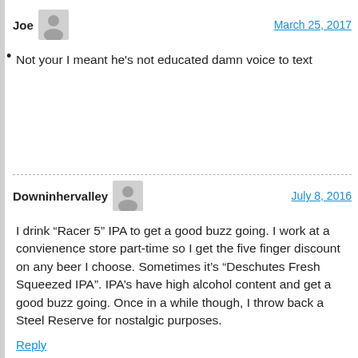Joe  •  March 25, 2017
Not your I meant he's not educated damn voice to text
Downinhervalley  July 8, 2016
I drink “Racer 5” IPA to get a good buzz going. I work at a convienence store part-time so I get the five finger discount on any beer I choose. Sometimes it’s “Deschutes Fresh Squeezed IPA”. IPA’s have high alcohol content and get a good buzz going. Once in a while though, I throw back a Steel Reserve for nostalgic purposes.
Reply